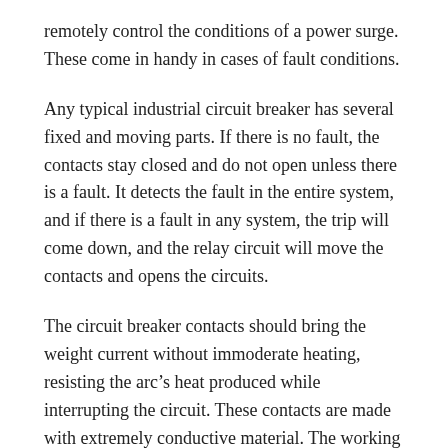remotely control the conditions of a power surge. These come in handy in cases of fault conditions.
Any typical industrial circuit breaker has several fixed and moving parts. If there is no fault, the contacts stay closed and do not open unless there is a fault. It detects the fault in the entire system, and if there is a fault in any system, the trip will come down, and the relay circuit will move the contacts and opens the circuits.
The circuit breaker contacts should bring the weight current without immoderate heating, resisting the arc’s heat produced while interrupting the circuit. These contacts are made with extremely conductive material. The working lifecycle is confined by erosion of touch material because of arcing. The arc among the contacts produced because of the ionization of air or the vapor of oil acts as a conductor.